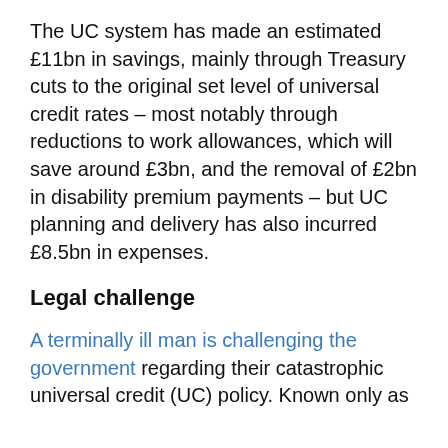The UC system has made an estimated £11bn in savings, mainly through Treasury cuts to the original set level of universal credit rates – most notably through reductions to work allowances, which will save around £3bn, and the removal of £2bn in disability premium payments – but UC planning and delivery has also incurred £8.5bn in expenses.
Legal challenge
A terminally ill man is challenging the government regarding their catastrophic universal credit (UC) policy. Known only as